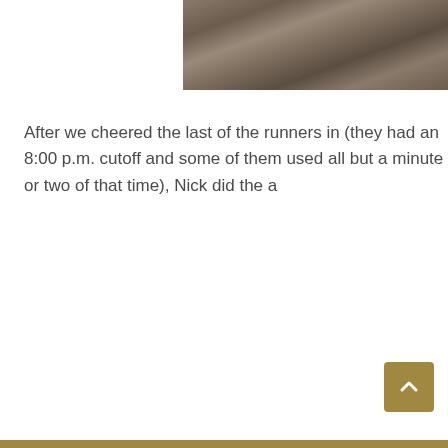[Figure (photo): Partial photo at top right showing rocky/muddy terrain, cut off at left and bottom edges.]
After we cheered the last of the runners in (they had an 8:00 p.m. cutoff and some of them used all but a minute or two of that time), Nick did the a